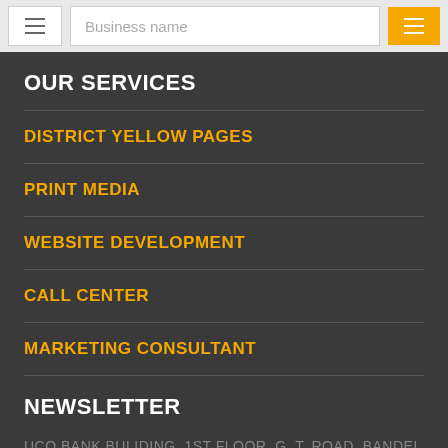Business name
OUR SERVICES
DISTRICT YELLOW PAGES
PRINT MEDIA
WEBSITE DEVELOPMENT
CALL CENTER
MARKETING CONSULTANT
NEWSLETTER
UCO BANK BULIDING, 1ST FLOOR, G. T. ROAD, BANDEL